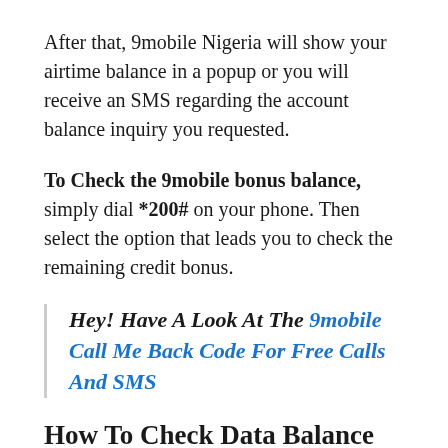After that, 9mobile Nigeria will show your airtime balance in a popup or you will receive an SMS regarding the account balance inquiry you requested.
To Check the 9mobile bonus balance, simply dial *200# on your phone. Then select the option that leads you to check the remaining credit bonus.
Hey! Have A Look At The 9mobile Call Me Back Code For Free Calls And SMS
How To Check Data Balance